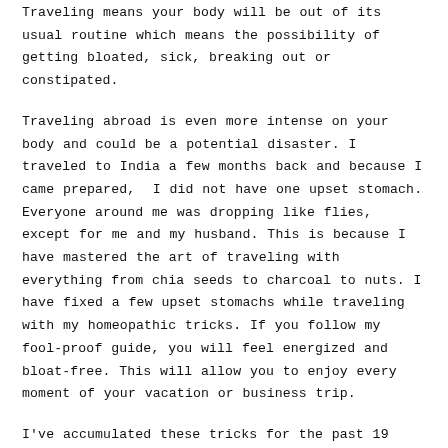Traveling means your body will be out of its usual routine which means the possibility of getting bloated, sick, breaking out or constipated.
Traveling abroad is even more intense on your body and could be a potential disaster. I traveled to India a few months back and because I came prepared,  I did not have one upset stomach. Everyone around me was dropping like flies, except for me and my husband. This is because I have mastered the art of traveling with everything from chia seeds to charcoal to nuts. I have fixed a few upset stomachs while traveling with my homeopathic tricks. If you follow my fool-proof guide, you will feel energized and bloat-free. This will allow you to enjoy every moment of your vacation or business trip.
I've accumulated these tricks for the past 19 years of traveling around the world. Print out this guide and bring it with you to share with your friends and family.